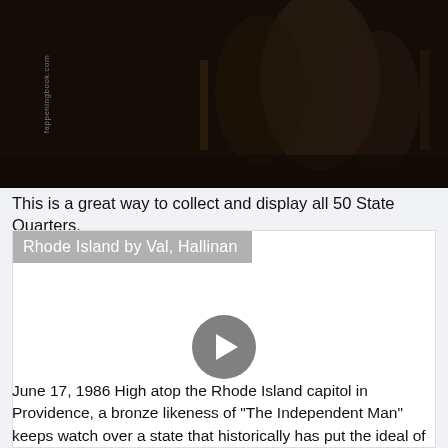[Figure (photo): Dark background photo, people visible in dim lighting, with fappeningbook.com watermark on left side]
This is a great way to collect and display all 50 State Quarters.
[Figure (screenshot): Video player thumbnail showing 'Rhode Island by Val, Hallinan' with a play button in center, white background]
June 17, 1986 High atop the Rhode Island capitol in Providence, a bronze likeness of "The Independent Man" keeps watch over a state that historically has put the ideal of individual liberty before all others.